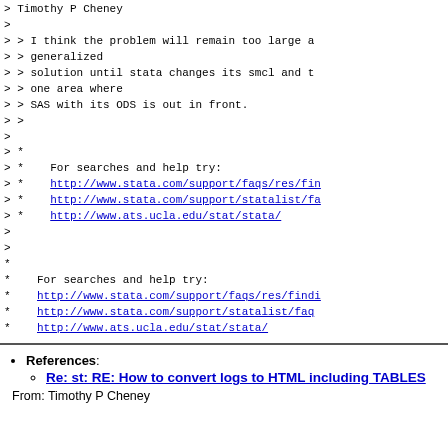> Timothy P Cheney
>
> > I think the problem will remain too large a
> > generalized
> > solution until stata changes its smcl and t
> > one area where
> > SAS with its ODS is out in front.
> >
>
> *
> *    For searches and help try:
> *    http://www.stata.com/support/faqs/res/fin
> *    http://www.stata.com/support/statalist/fa
> *    http://www.ats.ucla.edu/stat/stata/
>
>
*
*    For searches and help try:
*    http://www.stata.com/support/faqs/res/findi
*    http://www.stata.com/support/statalist/faq
*    http://www.ats.ucla.edu/stat/stata/
References:
Re: st: RE: How to convert logs to HTML including TABLES
From: Timothy P Cheney